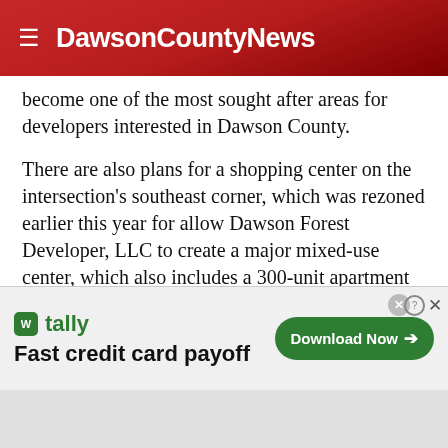DawsonCountyNews
become one of the most sought after areas for developers interested in Dawson County.
There are also plans for a shopping center on the intersection's southeast corner, which was rezoned earlier this year for allow Dawson Forest Developer, LLC to create a major mixed-use center, which also includes a 300-unit apartment complex in phase two.
While developers have said they were not ready to disclose the name of the 45,600 square foot grocery supermarket that is planned for Dawson Crossroads, local officials have said it will
[Figure (infographic): Advertisement banner for Tally app: 'Fast credit card payoff' with a green Download Now button]